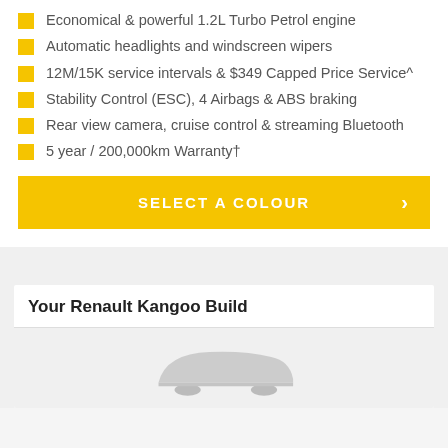Economical & powerful 1.2L Turbo Petrol engine
Automatic headlights and windscreen wipers
12M/15K service intervals & $349 Capped Price Service^
Stability Control (ESC), 4 Airbags & ABS braking
Rear view camera, cruise control & streaming Bluetooth
5 year / 200,000km Warranty†
SELECT A COLOUR
Your Renault Kangoo Build
[Figure (photo): Partial view of a Renault Kangoo vehicle silhouette]